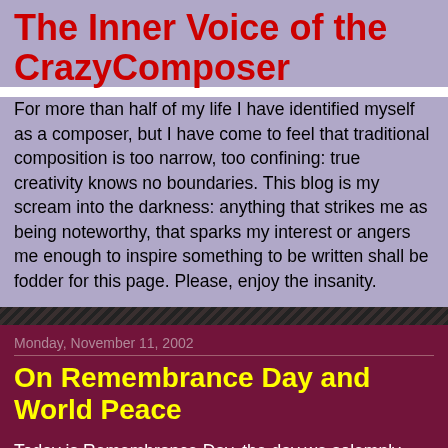The Inner Voice of the CrazyComposer
For more than half of my life I have identified myself as a composer, but I have come to feel that traditional composition is too narrow, too confining: true creativity knows no boundaries. This blog is my scream into the darkness: anything that strikes me as being noteworthy, that sparks my interest or angers me enough to inspire something to be written shall be fodder for this page. Please, enjoy the insanity.
Monday, November 11, 2002
On Remembrance Day and World Peace
Today is Remembrance Day, the day we solemnly reflect upon the sacrifices made by those brave young men and